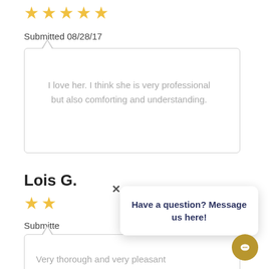[Figure (other): 5 gold star rating icons]
Submitted 08/28/17
I love her. I think she is very professional but also comforting and understanding.
Lois G.
[Figure (other): 2 gold star rating icons]
Submitted
Very thorough and very pleasant
Have a question? Message us here!